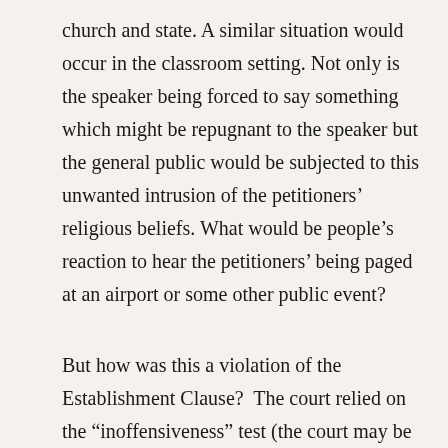church and state. A similar situation would occur in the classroom setting. Not only is the speaker being forced to say something which might be repugnant to the speaker but the general public would be subjected to this unwanted intrusion of the petitioners' religious beliefs. What would be people's reaction to hear the petitioners' being paged at an airport or some other public event?
But how was this a violation of the Establishment Clause?  The court relied on the “inoffensiveness” test (the court may be forgiven for rechristening the endorsement test), citing to McCreary County v.